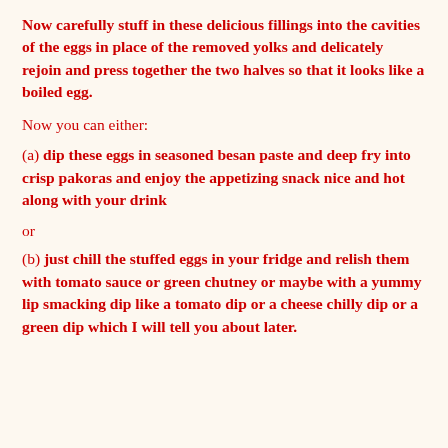Now carefully stuff in these delicious fillings into the cavities of the eggs in place of the removed yolks and delicately rejoin and press together the two halves so that it looks like a boiled egg.
Now you can either:
(a) dip these eggs in seasoned besan paste and deep fry into crisp pakoras and enjoy the appetizing snack nice and hot along with your drink
or
(b) just chill the stuffed eggs in your fridge and relish them with tomato sauce or green chutney or maybe with a yummy lip smacking dip like a tomato dip or a cheese chilly dip or a green dip which I will tell you about later.